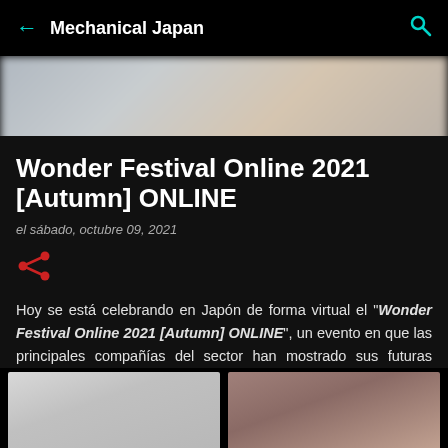Mechanical Japan
[Figure (photo): Blurred hero/banner image with soft gray and warm tones]
Wonder Festival Online 2021 [Autumn] ONLINE
el sábado, octubre 09, 2021
[Figure (other): Share icon (red)]
Hoy se está celebrando en Japón de forma virtual el "Wonder Festival Online 2021 [Autumn] ONLINE", un evento en que las principales compañías del sector han mostrado sus futuras novedades.
[Figure (photo): Two figure/statue images at bottom: gray anime figure on left, another figure on brown background on right]